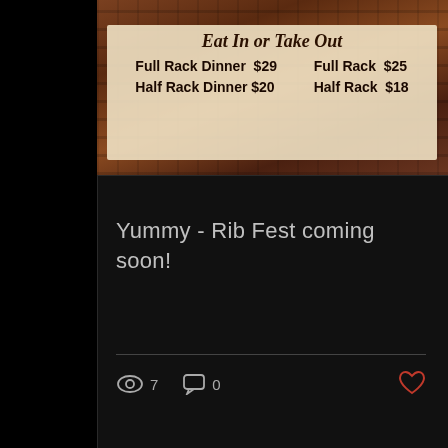[Figure (photo): Menu card showing Eat In or Take Out prices for Full Rack Dinner $29, Half Rack Dinner $20, Full Rack $25, Half Rack $18 over a food background photo]
Yummy - Rib Fest coming soon!
7 views, 0 comments, like button
[Figure (infographic): Carousel navigation dots, first dot active in red]
[Figure (infographic): Book Now vertical side button]
[Figure (infographic): RSS feed icon in footer area]